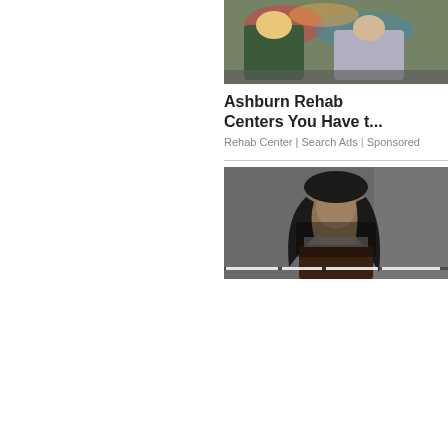[Figure (photo): Two women posing in front of graffiti wall, one in green jacket, one in sparkly pants]
Ashburn Rehab Centers You Have t...
Rehab Center | Search Ads | Sponsored
[Figure (photo): Woman with long dark hair looking forward, video player overlay with progress bar]